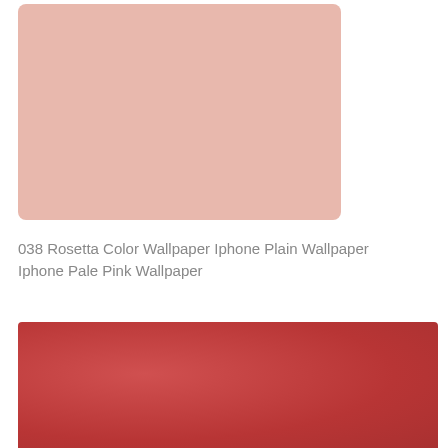[Figure (illustration): Pale pink/rosetta color solid color swatch rectangle with rounded corners on white background]
038 Rosetta Color Wallpaper Iphone Plain Wallpaper Iphone Pale Pink Wallpaper
[Figure (illustration): Deep red/crimson solid color swatch rectangle with slight texture on white background]